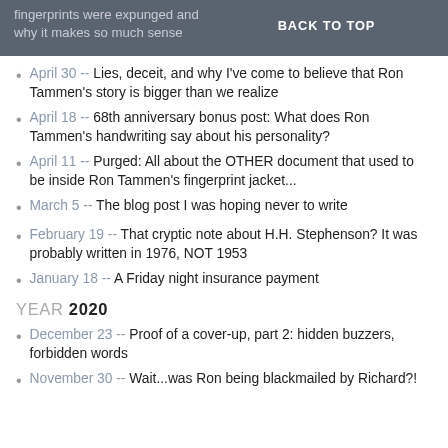fingerprints were expunged and why it makes so much sense | BACK TO TOP
April 30 -- Lies, deceit, and why I've come to believe that Ron Tammen's story is bigger than we realize
April 18 -- 68th anniversary bonus post: What does Ron Tammen's handwriting say about his personality?
April 11 -- Purged: All about the OTHER document that used to be inside Ron Tammen's fingerprint jacket...
March 5 -- The blog post I was hoping never to write
February 19 -- That cryptic note about H.H. Stephenson? It was probably written in 1976, NOT 1953
January 18 -- A Friday night insurance payment
YEAR 2020
December 23 -- Proof of a cover-up, part 2: hidden buzzers, forbidden words
November 30 -- Wait...was Ron being blackmailed by Richard?!